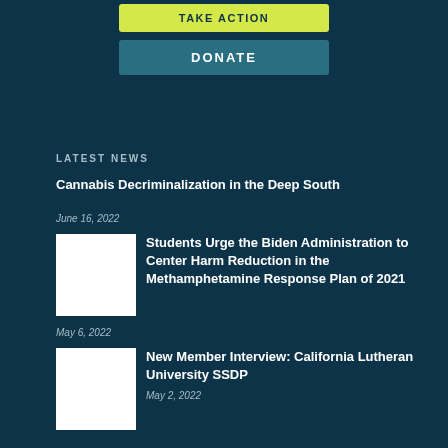[Figure (other): Yellow TAKE ACTION button]
[Figure (other): Teal DONATE button]
LATEST NEWS
Cannabis Decriminalization in the Deep South
June 16, 2022
[Figure (photo): Thumbnail image placeholder (white box)]
Students Urge the Biden Administration to Center Harm Reduction in the Methamphetamine Response Plan of 2021
May 6, 2022
[Figure (photo): Thumbnail image placeholder (white box)]
New Member Interview: California Lutheran University SSDP
May 2, 2022